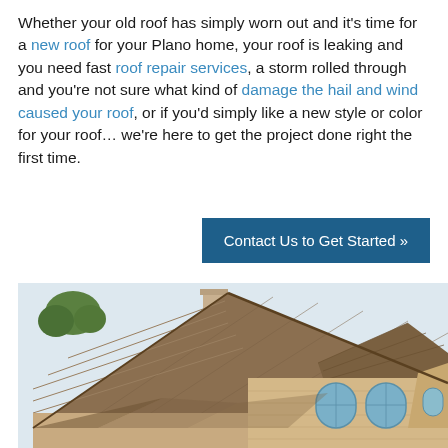Whether your old roof has simply worn out and it's time for a new roof for your Plano home, your roof is leaking and you need fast roof repair services, a storm rolled through and you're not sure what kind of damage the hail and wind caused your roof, or if you'd simply like a new style or color for your roof… we're here to get the project done right the first time.
Contact Us to Get Started »
[Figure (photo): Aerial/elevated view of a large two-story brick house with brown/tan architectural shingle roof, arched windows, chimney, and trees in background with light sky]